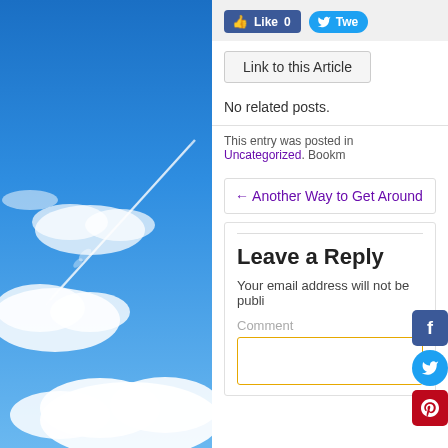[Figure (photo): Blue sky with white clouds and contrail from an airplane, occupying the left half of the page]
[Figure (screenshot): Facebook Like button showing 'Like 0' in blue]
[Figure (screenshot): Twitter Tweet button (partially visible, showing 'Twe...')]
Link to this Article
No related posts.
This entry was posted in Uncategorized. Bookm
← Another Way to Get Around
Leave a Reply
Your email address will not be publi
Comment